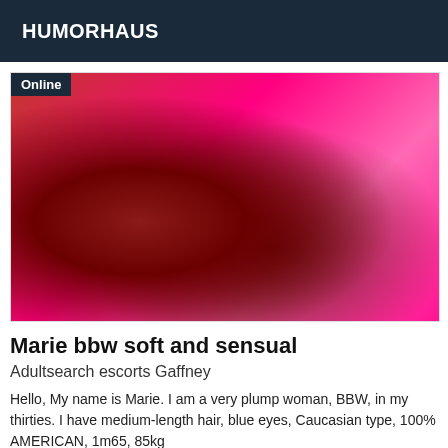HUMORHAUS
[Figure (photo): Woman in lingerie lying on a bed in a room with pink/red lighting. An 'Online' badge appears in the top-left corner of the image.]
Marie bbw soft and sensual
Adultsearch escorts Gaffney
Hello, My name is Marie. I am a very plump woman, BBW, in my thirties. I have medium-length hair, blue eyes, Caucasian type, 100% AMERICAN, 1m65, 85kg